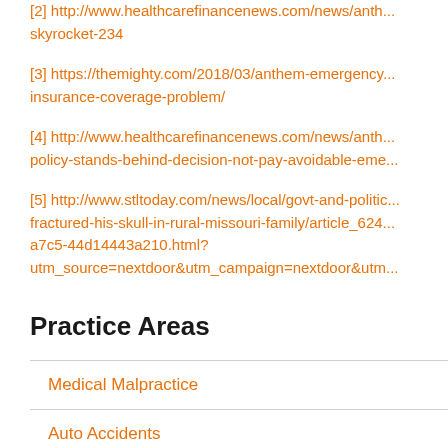[2] http://www.healthcarefinancenews.com/news/anth... skyrocket-234
[3] https://themighty.com/2018/03/anthem-emergency... insurance-coverage-problem/
[4] http://www.healthcarefinancenews.com/news/anth... policy-stands-behind-decision-not-pay-avoidable-eme...
[5] http://www.stltoday.com/news/local/govt-and-politic... fractured-his-skull-in-rural-missouri-family/article_624... a7c5-44d14443a210.html?utm_source=nextdoor&utm_campaign=nextdoor&utm...
Practice Areas
Medical Malpractice
Auto Accidents